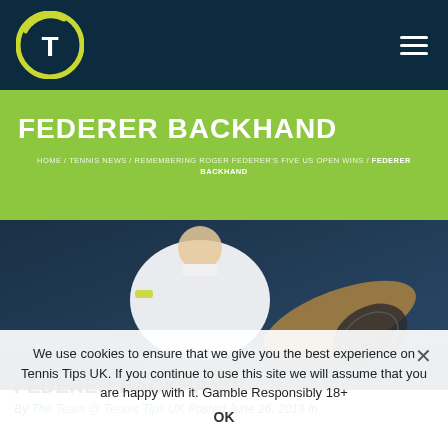[Figure (logo): Tennis Tips UK logo - circular tennis ball icon with T in center, on dark navy header bar with hamburger menu icon on right]
FEDERER BACKHAND
HOME / TENNIS NEWS / REMEMBERING ROGER FEDERER'S FIVE US OPEN WINS / FEDERER BACKHAND
[Figure (photo): Tennis player (Roger Federer) hitting a backhand shot, wearing white polo shirt, photographed from low angle with dark blue background]
We use cookies to ensure that we give you the best experience on Tennis Tips UK. If you continue to use this site we will assume that you are happy with it. Gamble Responsibly 18+
OK
FEDERER BACKHAND
By The Team @ Tennis Tips UK Posted June 26, 2019 In